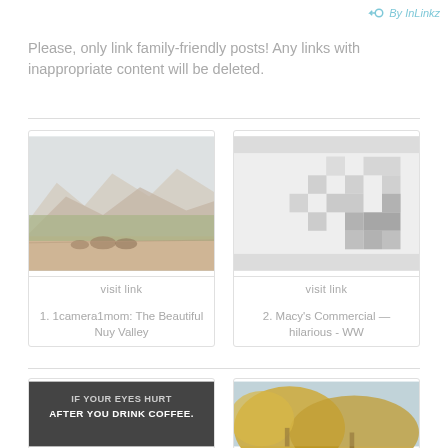By InLinkz
Please, only link family-friendly posts! Any links with inappropriate content will be deleted.
[Figure (photo): Landscape photo showing mountains, trees, and horses in a valley (1camera1mom: The Beautiful Nuy Valley)]
visit link
1. 1camera1mom: The Beautiful Nuy Valley
[Figure (illustration): Pixelated/blurred placeholder image icon on grey background]
visit link
2. Macy's Commercial — hilarious - WW
[Figure (photo): Dark banner image with text 'IF YOUR EYES HURT AFTER YOU DRINK COFFEE.']
[Figure (photo): Outdoor photo showing yellow foliage/trees with blue sky]